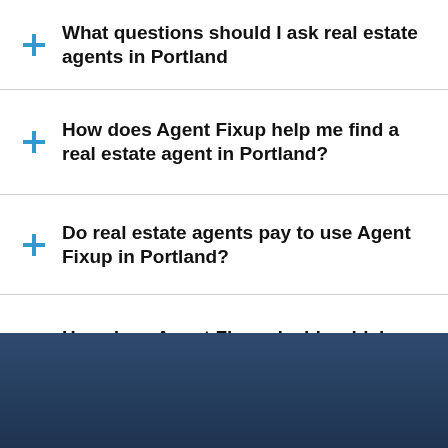What questions should I ask real estate agents in Portland
How does Agent Fixup help me find a real estate agent in Portland?
Do real estate agents pay to use Agent Fixup in Portland?
How does Agent Fixup decide which agents to use in Portland?